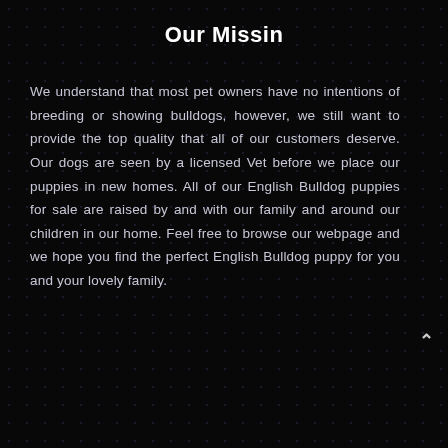Our Missin
We understand that most pet owners have no intentions of breeding or showing bulldogs, however, we still want to provide the top quality that all of our customers deserve. Our dogs are seen by a licensed Vet before we place our puppies in new homes. All of our English Bulldog puppies for sale are raised by and with our family and around our children in our home. Feel free to browse our webpage and we hope you find the perfect English Bulldog puppy for you and your lovely family.